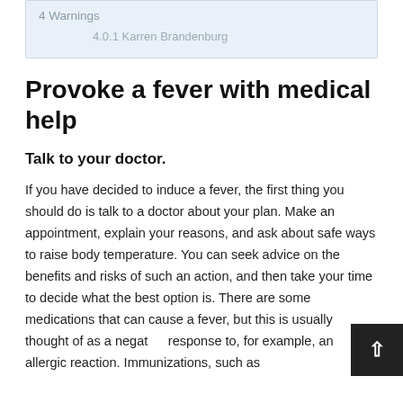4 Warnings
4.0.1 Karren Brandenburg
Provoke a fever with medical help
Talk to your doctor.
If you have decided to induce a fever, the first thing you should do is talk to a doctor about your plan. Make an appointment, explain your reasons, and ask about safe ways to raise body temperature. You can seek advice on the benefits and risks of such an action, and then take your time to decide what the best option is. There are some medications that can cause a fever, but this is usually thought of as a negative response to, for example, an allergic reaction. Immunizations, such as